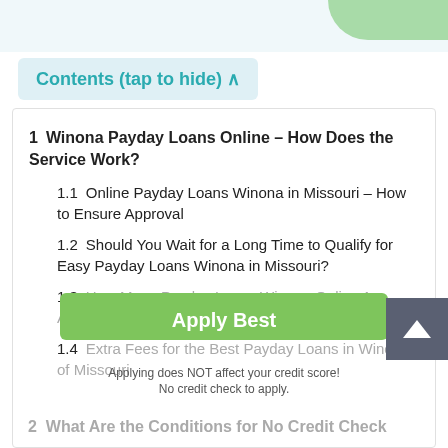Contents (tap to hide) ^
1  Winona Payday Loans Online – How Does the Service Work?
1.1  Online Payday Loans Winona in Missouri – How to Ensure Approval
1.2  Should You Wait for a Long Time to Qualify for Easy Payday Loans Winona in Missouri?
1.3  How Many Payday Loans Winona Online Are Available for a Borrower?
1.4  Extra Fees for the Best Payday Loans in Winona of Missouri
2  What Are the Conditions for No Credit Check